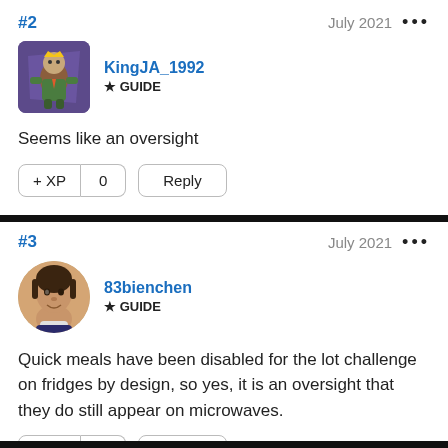#2
July 2021
[Figure (illustration): Game character avatar for KingJA_1992 - fantasy character with purple cape]
KingJA_1992
★ GUIDE
Seems like an oversight
+ XP  0  Reply
#3
July 2021
[Figure (illustration): Game character avatar for 83bienchen - female character portrait]
83bienchen
★ GUIDE
Quick meals have been disabled for the lot challenge on fridges by design, so yes, it is an oversight that they do still appear on microwaves.
+ XP  0  Reply